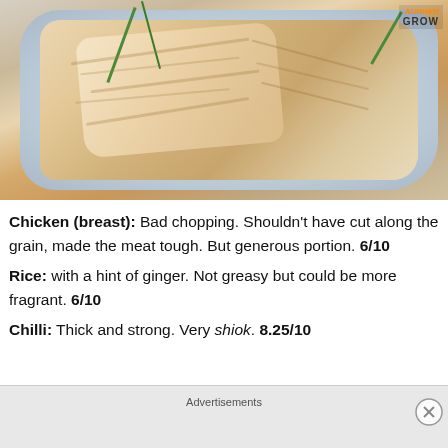[Figure (photo): A photo of sliced steamed chicken breast on a light blue plate, garnished with green onion strips and a small red chili. A logo reading GROWN appears in the top right corner.]
Chicken (breast): Bad chopping. Shouldn't have cut along the grain, made the meat tough. But generous portion. 6/10
Rice: with a hint of ginger. Not greasy but could be more fragrant. 6/10
Chilli: Thick and strong. Very shiok. 8.25/10
Advertisements